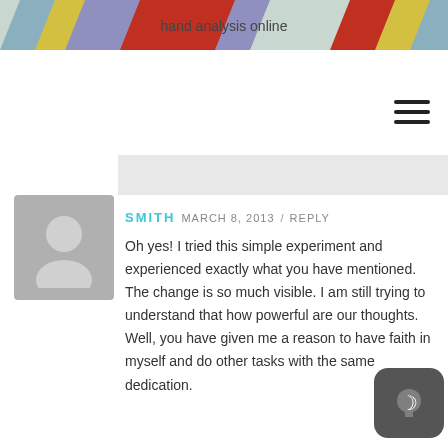[Figure (illustration): Colorful diagonal stripe banner header with text 'hand analysis online' centered, featuring blue, yellow, purple, red, and orange colored stripes]
[Figure (other): Hamburger menu icon (three horizontal lines) in top right area]
[Figure (photo): Gray placeholder avatar image of a person silhouette]
SMITH  MARCH 8, 2013 / REPLY
Oh yes! I tried this simple experiment and experienced exactly what you have mentioned. The change is so much visible. I am still trying to understand that how powerful are our thoughts. Well, you have given me a reason to have faith in myself and do other tasks with the same dedication.